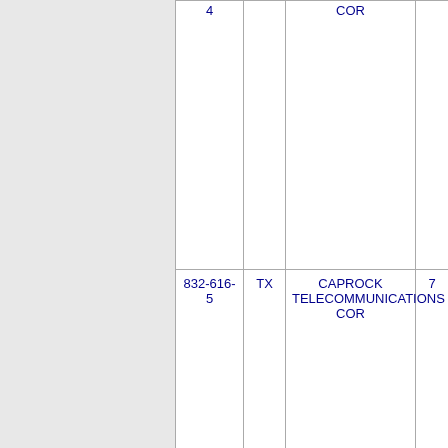| 4 |  | COR |  |
| 832-616-5 | TX | CAPROCK TELECOMMUNICATIONS COR | 7 |